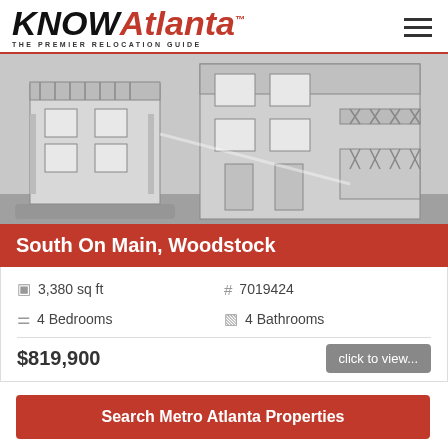KNOWAtlanta™ — THE PREMIER RELOCATION GUIDE
[Figure (illustration): Architectural rendering of multi-story residential building (South On Main, Woodstock) shown in grayscale, with balconies, railings, and siding details]
South On Main, Woodstock
3,380 sq ft
# 7019424
4 Bedrooms
4 Bathrooms
$819,900
click to view...
Search Metro Atlanta Properties